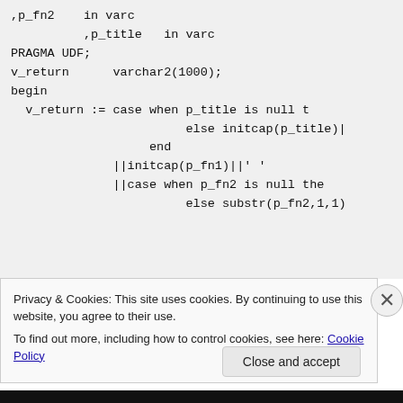,p_fn2    in varc
,p_title   in varc
PRAGMA UDF;
v_return      varchar2(1000);
begin
  v_return := case when p_title is null t
                        else initcap(p_title)|
                   end
              ||initcap(p_fn1)||' '
              ||case when p_fn2 is null the
                        else substr(p_fn2,1,1)
Privacy & Cookies: This site uses cookies. By continuing to use this website, you agree to their use.
To find out more, including how to control cookies, see here: Cookie Policy